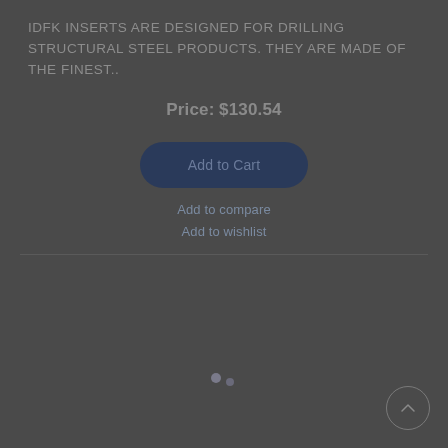IDFK INSERTS ARE DESIGNED FOR DRILLING STRUCTURAL STEEL PRODUCTS. THEY ARE MADE OF THE FINEST..
Price: $130.54
Add to Cart
Add to compare
Add to wishlist
[Figure (other): Loading spinner dots indicator]
[Figure (other): Scroll to top circular button with upward chevron arrow]